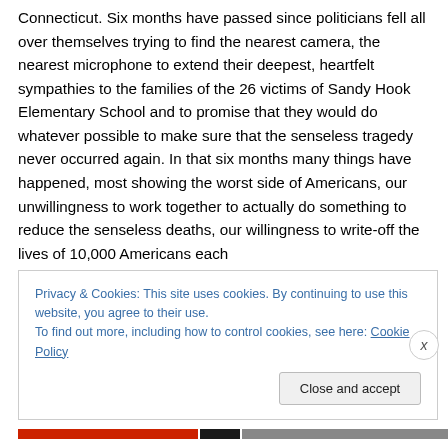Connecticut. Six months have passed since politicians fell all over themselves trying to find the nearest camera, the nearest microphone to extend their deepest, heartfelt sympathies to the families of the 26 victims of Sandy Hook Elementary School and to promise that they would do whatever possible to make sure that the senseless tragedy never occurred again. In that six months many things have happened, most showing the worst side of Americans, our unwillingness to work together to actually do something to reduce the senseless deaths, our willingness to write-off the lives of 10,000 Americans each
Privacy & Cookies: This site uses cookies. By continuing to use this website, you agree to their use.
To find out more, including how to control cookies, see here: Cookie Policy
Close and accept